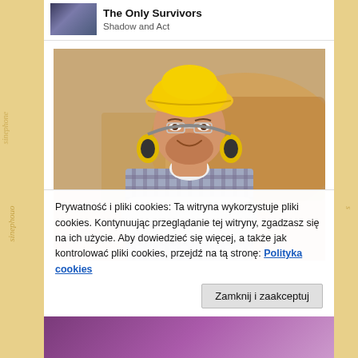The Only Survivors
Shadow and Act
[Figure (photo): Smiling male construction worker wearing a yellow hard hat, safety glasses, and ear protection around his neck, arms crossed, standing in front of construction equipment]
Prywatność i pliki cookies: Ta witryna wykorzystuje pliki cookies. Kontynuując przeglądanie tej witryny, zgadzasz się na ich użycie. Aby dowiedzieć się więcej, a także jak kontrolować pliki cookies, przejdź na tą stronę: Polityka cookies
Zamknij i zaakceptuj